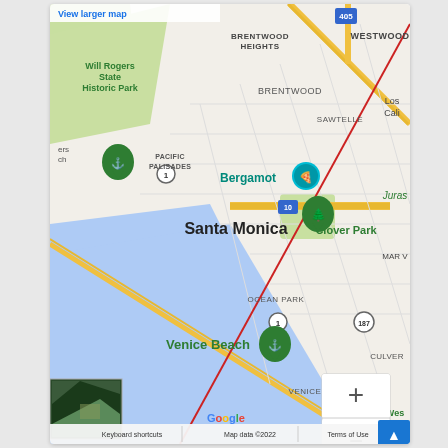[Figure (map): Google Maps screenshot showing the Santa Monica, Venice Beach, Pacific Palisades, Brentwood, Westwood, Sawtelle, Ocean Park, Culver City area of Los Angeles. Features Will Rogers State Historic Park, Bergamot station marker, Clover Park, Venice Beach marker. Red diagonal line crosses from upper right to lower right across the coast. Yellow roads, blue ocean area, zoom controls (+/-), satellite thumbnail inset, Google logo, and footer bar with Keyboard shortcuts, Map data ©2022, Terms of Use.]